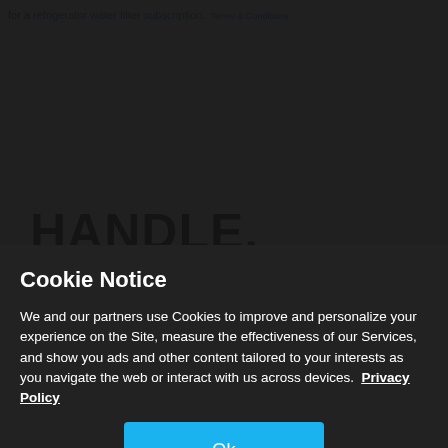for a refrigerator water filter subscription. Terms & Conditions
[Figure (screenshot): Confirm the part fits popup with puzzle icon and TAP HERE button with close X]
HANDLE, BASKET
Cookie Notice
We and our partners use Cookies to improve and personalize your experience on the Site, measure the effectiveness of our Services, and show you ads and other content tailored to your interests as you navigate the web or interact with us across devices. Privacy Policy
Ok